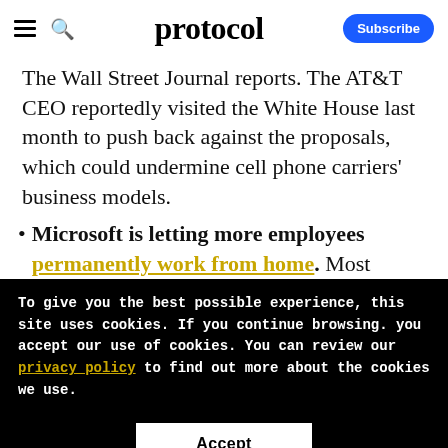protocol [with hamburger menu, search icon, Subscribe button]
The Wall Street Journal reports. The AT&T CEO reportedly visited the White House last month to push back against the proposals, which could undermine cell phone carriers' business models.
Microsoft is letting more employees permanently work from home. Most
To give you the best possible experience, this site uses cookies. If you continue browsing. you accept our use of cookies. You can review our privacy policy to find out more about the cookies we use.
Accept